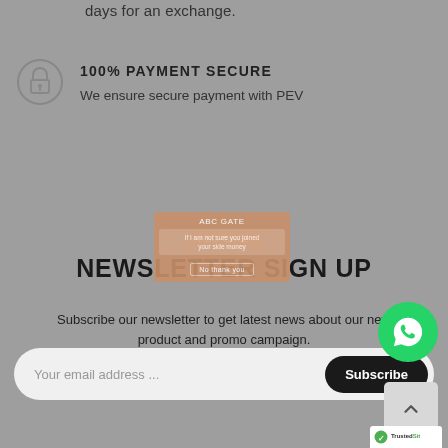days for an exchange.
100% PAYMENT SECURE
We ensure secure payment with PEV
NEWSLETTER SIGN UP
Subscribe our newsletter to get latest news about our new product and promo campaign.
Your email address
Subscribe